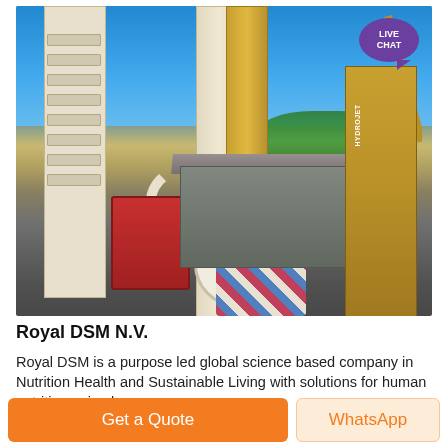[Figure (photo): Industrial milling/grinding machinery with white towers, yellow silos, conveyor belts, and a crane on the right side, photographed outdoors under a clear blue sky]
Royal DSM N.V.
Royal DSM is a purpose led global science based company in Nutrition Health and Sustainable Living with solutions for human nutrition animal
Get a Quote
WhatsApp